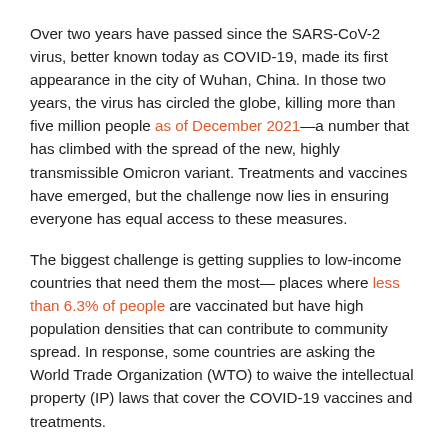Over two years have passed since the SARS-CoV-2 virus, better known today as COVID-19, made its first appearance in the city of Wuhan, China. In those two years, the virus has circled the globe, killing more than five million people as of December 2021—a number that has climbed with the spread of the new, highly transmissible Omicron variant. Treatments and vaccines have emerged, but the challenge now lies in ensuring everyone has equal access to these measures.
The biggest challenge is getting supplies to low-income countries that need them the most— places where less than 6.3% of people are vaccinated but have high population densities that can contribute to community spread. In response, some countries are asking the World Trade Organization (WTO) to waive the intellectual property (IP) laws that cover the COVID-19 vaccines and treatments.